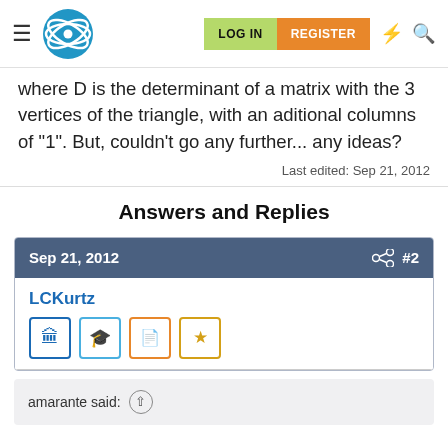LOG IN | REGISTER
where D is the determinant of a matrix with the 3 vertices of the triangle, with an aditional columns of "1". But, couldn't go any further... any ideas?
Last edited: Sep 21, 2012
Answers and Replies
Sep 21, 2012  #2
LCKurtz
amarante said: